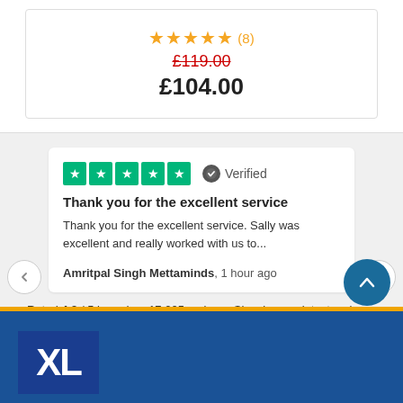★★★★★ (8)
£119.00
£104.00
[Figure (screenshot): Trustpilot 5-star review card with green star icons and Verified badge]
Thank you for the excellent service
Thank you for the excellent service. Sally was excellent and really worked with us to...
Amritpal Singh Mettaminds, 1 hour ago
Rated 4.9 / 5 based on 17,205 reviews. Showing our latest reviews.
[Figure (logo): Trustpilot logo with green star]
[Figure (logo): XL logo in blue square at bottom footer]